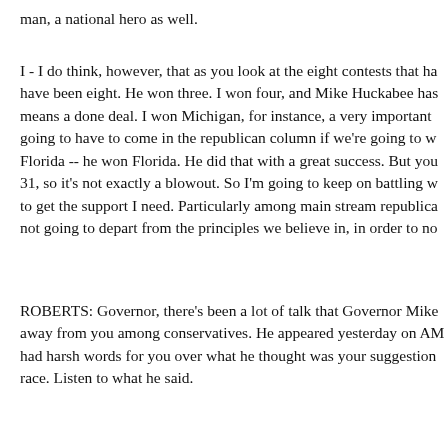man, a national hero as well.
I - I do think, however, that as you look at the eight contests that ha have been eight. He won three. I won four, and Mike Huckabee has means a done deal. I won Michigan, for instance, a very important going to have to come in the republican column if we're going to w Florida -- he won Florida. He did that with a great success. But you 31, so it's not exactly a blowout. So I'm going to keep on battling w to get the support I need. Particularly among main stream republica not going to depart from the principles we believe in, in order to no
ROBERTS: Governor, there's been a lot of talk that Governor Mike away from you among conservatives. He appeared yesterday on AM had harsh words for you over what he thought was your suggestion race. Listen to what he said.